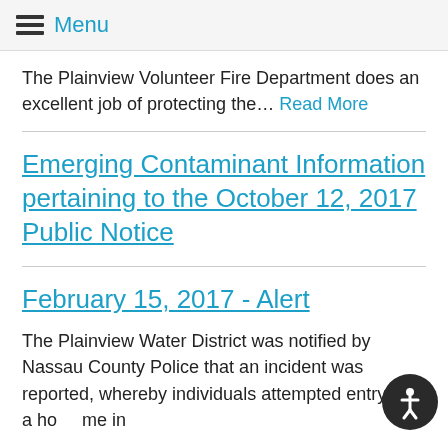Menu
The Plainview Volunteer Fire Department does an excellent job of protecting the… Read More
Emerging Contaminant Information pertaining to the October 12, 2017 Public Notice
February 15, 2017 - Alert
The Plainview Water District was notified by Nassau County Police that an incident was reported, whereby individuals attempted entry into a home in